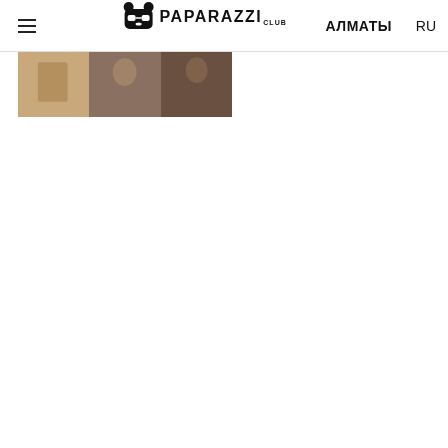☰ PAPARAZZI CLUB АЛМАТЫ RU
[Figure (photo): A horizontal strip of photos showing people, partially visible at the top of the content area, below the navigation bar.]